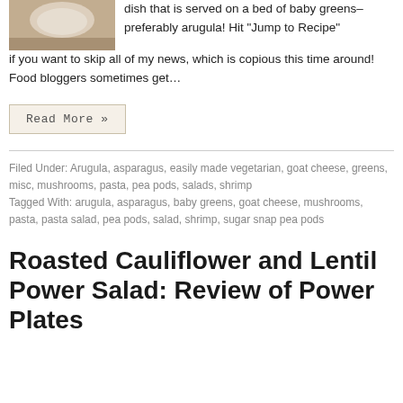[Figure (photo): Food photo showing a dish, partial view at top left]
dish that is served on a bed of baby greens–preferably arugula! Hit “Jump to Recipe” if you want to skip all of my news, which is copious this time around! Food bloggers sometimes get…
Read More »
Filed Under: Arugula, asparagus, easily made vegetarian, goat cheese, greens, misc, mushrooms, pasta, pea pods, salads, shrimp
Tagged With: arugula, asparagus, baby greens, goat cheese, mushrooms, pasta, pasta salad, pea pods, salad, shrimp, sugar snap pea pods
Roasted Cauliflower and Lentil Power Salad: Review of Power Plates